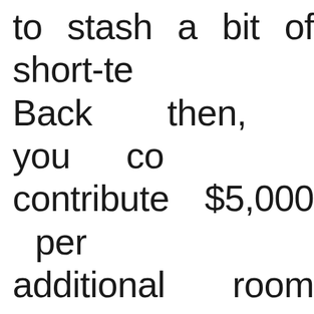to stash a bit of short-te Back then, you co contribute $5,000 per additional room h generated every year sinc If you've never contrib TFSA, were 18 or older i have been a resident since then, you w